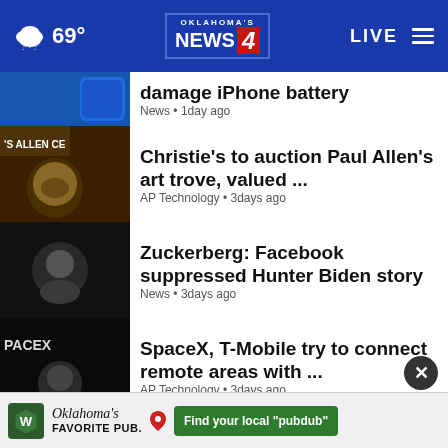Oklahoma's News 4 — 69° LIVE
damage iPhone battery
News • 1 day ago
Christie's to auction Paul Allen's art trove, valued ...
AP Technology • 3 days ago
Zuckerberg: Facebook suppressed Hunter Biden story
News • 3 days ago
SpaceX, T-Mobile try to connect remote areas with ...
AP Technology • 3 days ago
Amazon to shutter virtual health care service Amazon ...
AP Technology • 5 days ago
5 takeaways from Twitter
Oklahoma's Favorite Pub. Find your local "pubdub"